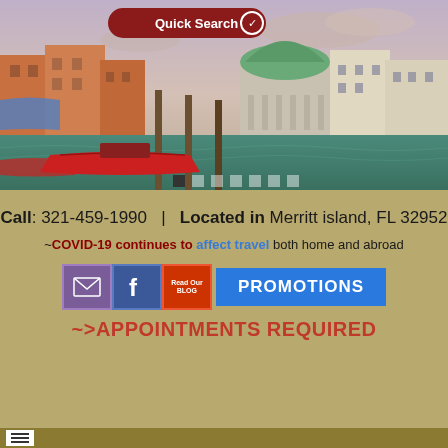[Figure (photo): Venice canal scene with colorful buildings, a green dome church, red boats on the water, and wooden poles. A 'Quick Search' button with checkmark is overlaid on the top center of the image. Carousel navigation dots appear at the bottom of the image.]
Call: 321-459-1990  |  Located in Merritt island, FL 32952
~COVID-19 continues to affect travel both home and abroad
[Figure (infographic): Row of social/action icons: purple envelope icon, blue Facebook icon, red 'Read Our Blog' icon, and a blue 'PROMOTIONS' button]
~>APPOINTMENTS REQUIRED
Navigation hamburger menu icon bar